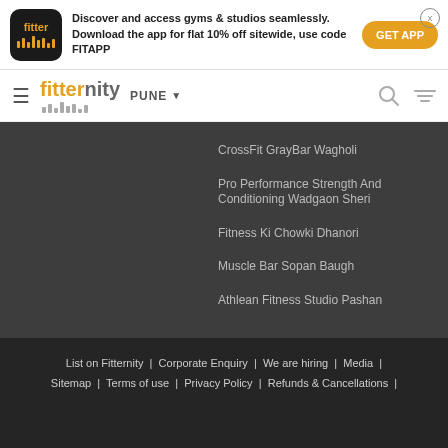[Figure (screenshot): Fitternity app banner with logo, promotional text and GET APP button]
fitternity PUNE
CrossFit GrayBar Wagholi
Pro Performance Strength And Conditioning Wadgaon Sheri
Fitness Ki Chowki Dhanori
Muscle Bar Sopan Baugh
Athlean Fitness Studio Pashan
List on Fitternity | Corporate Enquiry | We are hiring | Media | Sitemap | Terms of use | Privacy Policy | Refunds & Cancellations |